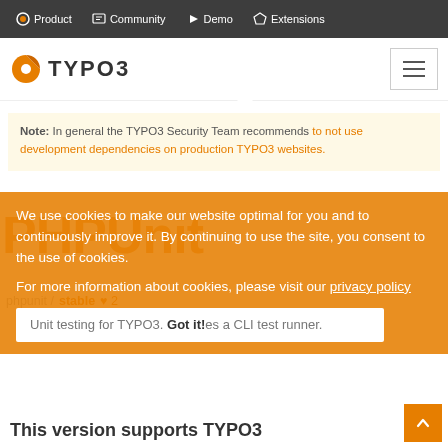Product  Community  Demo  Extensions
[Figure (logo): TYPO3 logo with orange icon and hamburger menu button]
Note: In general the TYPO3 Security Team recommends to not use development dependencies on production TYPO3 websites.
We use cookies to make our website optimal for you and to continuously improve it. By continuing to use the site, you consent to the use of cookies.
For more information about cookies, please visit our privacy policy
Unit testing for TYPO3. Got it! Uses a CLI test runner.
PHPUnit
phpunit / stable ♥ 2
This version supports TYPO3